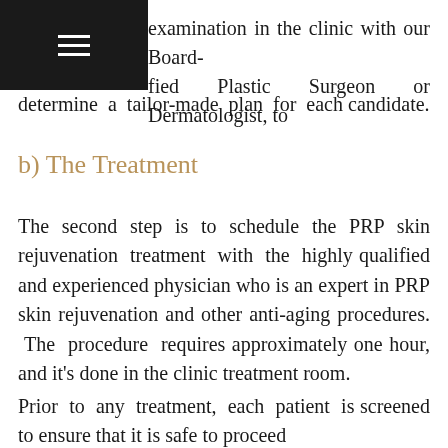examination in the clinic with our Board-certified Plastic Surgeon or Dermatologist, to determine a tailor-made plan for each candidate.
b) The Treatment
The second step is to schedule the PRP skin rejuvenation treatment with the highly qualified and experienced physician who is an expert in PRP skin rejuvenation and other anti-aging procedures. The procedure requires approximately one hour, and it's done in the clinic treatment room.
Prior to any treatment, each patient is screened to ensure that it is safe to proceed